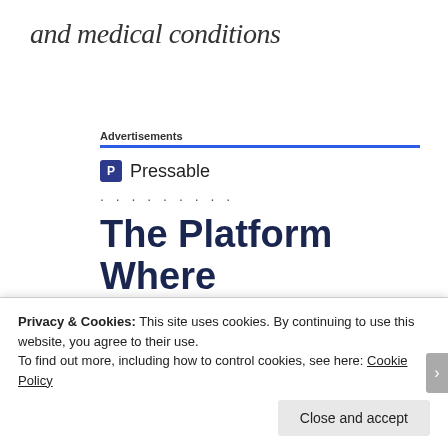and medical conditions
Advertisements
[Figure (logo): Pressable logo with blue square icon containing letter P and the text 'Pressable']
. . . . . . . . .
The Platform Where WordPress Works Best
[Figure (other): SEE PRICING button (partially visible)]
Privacy & Cookies: This site uses cookies. By continuing to use this website, you agree to their use.
To find out more, including how to control cookies, see here: Cookie Policy
Close and accept